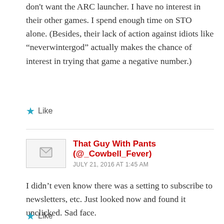don't want the ARC launcher. I have no interest in their other games. I spend enough time on STO alone. (Besides, their lack of action against idiots like “neverwintergod” actually makes the chance of interest in trying that game a negative number.)
Like
That Guy With Pants (@_Cowbell_Fever)
JULY 21, 2016 AT 1:45 AM
I didn’t even know there was a setting to subscribe to newsletters, etc. Just looked now and found it unclicked. Sad face.
Like